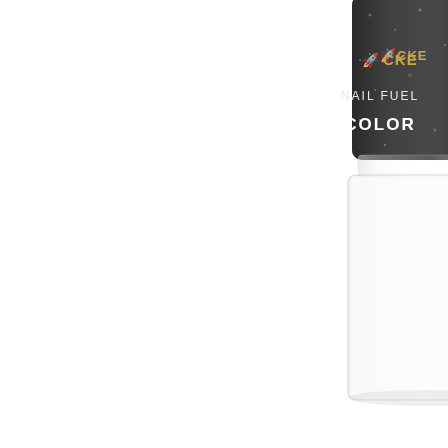[Figure (photo): A nail polish bottle partially cropped, showing the bottom and label portion. The bottle has a clear glass lower section and a dark glittery black/charcoal cap. The label reads 'ROCKET NAIL FUEL COLOR' in gold and white lettering. The brand name appears to be 'ROCKET' with a rocket ship icon. Background is plain white.]